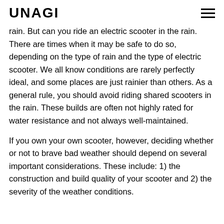UNAGI
rain. But can you ride an electric scooter in the rain. There are times when it may be safe to do so, depending on the type of rain and the type of electric scooter. We all know conditions are rarely perfectly ideal, and some places are just rainier than others. As a general rule, you should avoid riding shared scooters in the rain. These builds are often not highly rated for water resistance and not always well-maintained.
If you own your own scooter, however, deciding whether or not to brave bad weather should depend on several important considerations. These include: 1) the construction and build quality of your scooter and 2) the severity of the weather conditions.